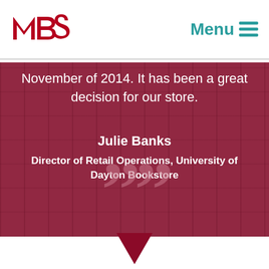[Figure (logo): MBS logo in red/dark red lettering]
Menu ≡
November of 2014. It has been a great decision for our store.
Julie Banks
Director of Retail Operations, University of Dayton Bookstore